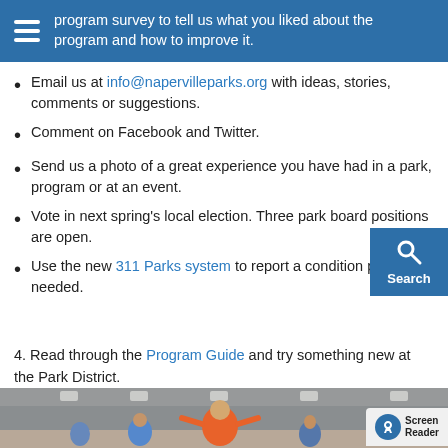program survey to tell us what you liked about the program and how to improve it.
Email us at info@napervilleparks.org with ideas, stories, comments or suggestions.
Comment on Facebook and Twitter.
Send us a photo of a great experience you have had in a park, program or at an event.
Vote in next spring's local election. Three park board positions are open.
Use the new 311 Parks system to report a condition parks, if needed.
4. Read through the Program Guide and try something new at the Park District.
[Figure (photo): Woman in orange top exercising in an indoor sports facility with other participants in background]